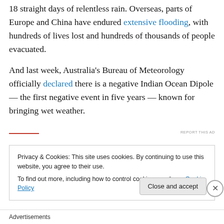18 straight days of relentless rain. Overseas, parts of Europe and China have endured extensive flooding, with hundreds of lives lost and hundreds of thousands of people evacuated.
And last week, Australia's Bureau of Meteorology officially declared there is a negative Indian Ocean Dipole — the first negative event in five years — known for bringing wet weather.
Privacy & Cookies: This site uses cookies. By continuing to use this website, you agree to their use. To find out more, including how to control cookies, see here: Cookie Policy